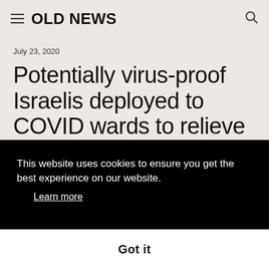OLD NEWS
July 23, 2020
Potentially virus-proof Israelis deployed to COVID wards to relieve lo
Read
[Figure (screenshot): Cookie consent overlay with text: This website uses cookies to ensure you get the best experience on our website. Learn more. Got it button.]
[Figure (logo): Z замир logo in orange and black at bottom left]